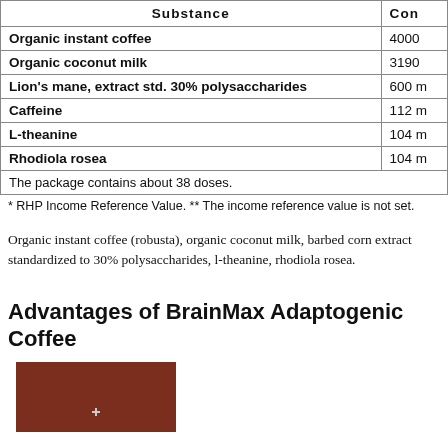| Substance | Con |
| --- | --- |
| Organic instant coffee | 4000 |
| Organic coconut milk | 3190 |
| Lion's mane, extract std. 30% polysaccharides | 600 m |
| Caffeine | 112 m |
| L-theanine | 104 m |
| Rhodiola rosea | 104 m |
| The package contains about 38 doses. |  |
* RHP Income Reference Value. ** The income reference value is not set.
Organic instant coffee (robusta), organic coconut milk, barbed corn extract standardized to 30% polysaccharides, l-theanine, rhodiola rosea.
Advantages of BrainMax Adaptogenic Coffee
[Figure (photo): Product image with dark brown/maroon background, partially visible]